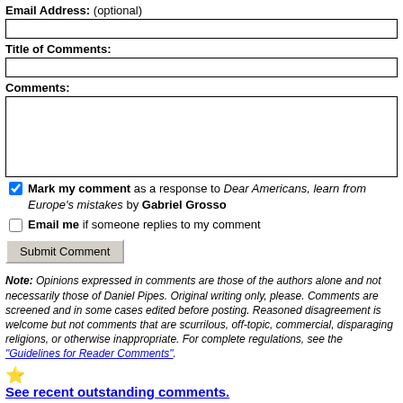Email Address: (optional)
Title of Comments:
Comments:
Mark my comment as a response to Dear Americans, learn from Europe's mistakes by Gabriel Grosso
Email me if someone replies to my comment
Submit Comment
Note: Opinions expressed in comments are those of the authors alone and not necessarily those of Daniel Pipes. Original writing only, please. Comments are screened and in some cases edited before posting. Reasoned disagreement is welcome but not comments that are scurrilous, off-topic, commercial, disparaging religions, or otherwise inappropriate. For complete regulations, see the "Guidelines for Reader Comments".
See recent outstanding comments.